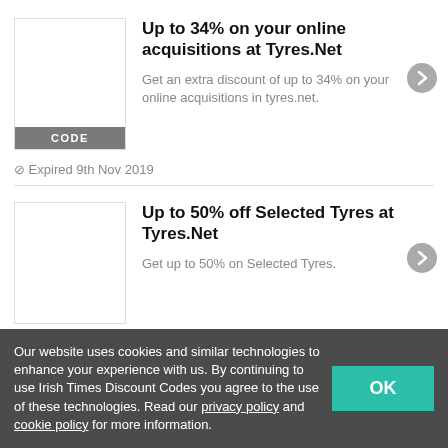[Figure (other): White box placeholder for offer image with CODE label]
Up to 34% on your online acquisitions at Tyres.Net
Get an extra discount of up to 34% on your online acquisitions in tyres.net.
⊘ Expired 9th Nov 2019
[Figure (other): White box placeholder for second offer image]
Up to 50% off Selected Tyres at Tyres.Net
Get up to 50% on Selected Tyres.
Our website uses cookies and similar technologies to enhance your experience with us. By continuing to use Irish Times Discount Codes you agree to the use of these technologies. Read our privacy policy and cookie policy for more information.